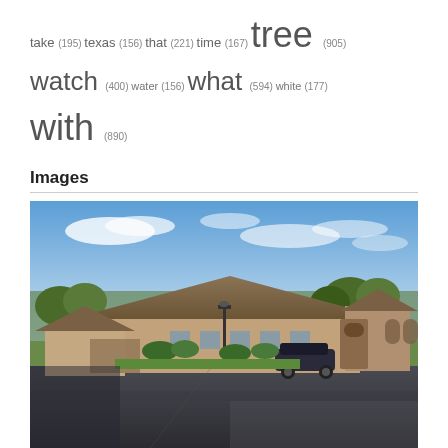take (195) texas (156) that (221) time (167) tree (905) watch (400) water (156) what (594) white (177) with (890)
Images
[Figure (photo): Exterior photo of a single-story brick building with a large parking lot in the foreground, trees in the background, blue sky with clouds, and a car parked near the entrance. A tall street lamp is visible in the center.]